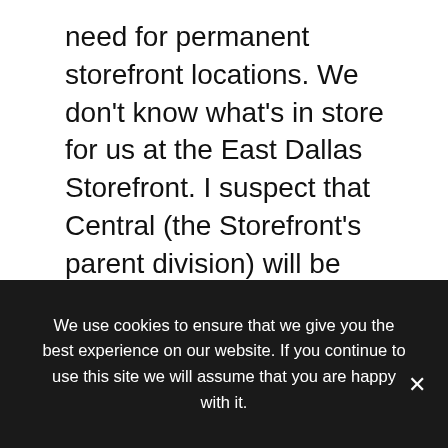need for permanent storefront locations. We don't know what's in store for us at the East Dallas Storefront. I suspect that Central (the Storefront's parent division) will be calling on us to staff the mobile storefront when it is put into action.
Mobility is important, but more important is the availability of the officer to the community. We have specific officers at our Storefront who work with the Vietnamese and Cambodian communities, and these communities know that when they need
We use cookies to ensure that we give you the best experience on our website. If you continue to use this site we will assume that you are happy with it.